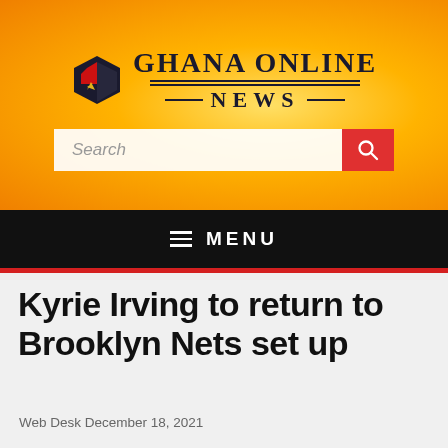[Figure (logo): Ghana Online News logo with hexagonal icon and serif text]
Kyrie Irving to return to Brooklyn Nets set up
Web Desk December 18, 2021